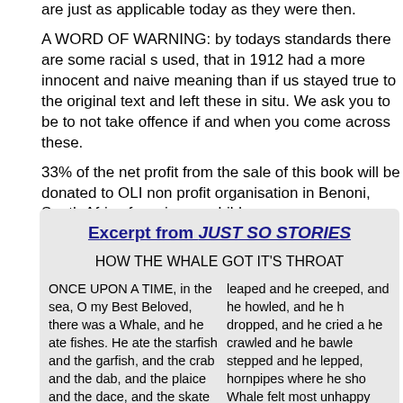are just as applicable today as they were then.
A WORD OF WARNING: by todays standards there are some racial s used, that in 1912 had a more innocent and naive meaning than if us stayed true to the original text and left these in situ. We ask you to be to not take offence if and when you come across these.
33% of the net profit from the sale of this book will be donated to OLI non profit organisation in Benoni, South Africa focusing on childcare a
YESTERDAY'S BOOKS RAISING FUNDS FOR TODAY'S CHARITIE
Excerpt from JUST SO STORIES
HOW THE WHALE GOT IT'S THROAT
ONCE UPON A TIME, in the sea, O my Best Beloved, there was a Whale, and he ate fishes. He ate the starfish and the garfish, and the crab and the dab, and the plaice and the dace, and the skate and his mate, and the mackereel and the pickereel, and the really truly twirly-whirly eel. All the fishes he could find in all the sea he ate with his mouthso! Till
leaped and he creeped, and he howled, and he h dropped, and he cried a he crawled and he bawle stepped and he lepped, hornpipes where he sho Whale felt most unhappy you forgotten the suspen So he said to the 'Stute